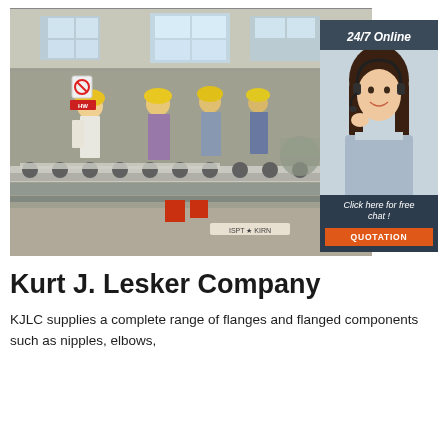[Figure (photo): Factory floor scene showing workers in yellow hard hats inspecting industrial pipe/roller machinery in a large warehouse facility. An overlay widget on the right shows a customer service representative with headset and text '24/7 Online', 'Click here for free chat!', and an orange QUOTATION button.]
Kurt J. Lesker Company
KJLC supplies a complete range of flanges and flanged components such as nipples, elbows,